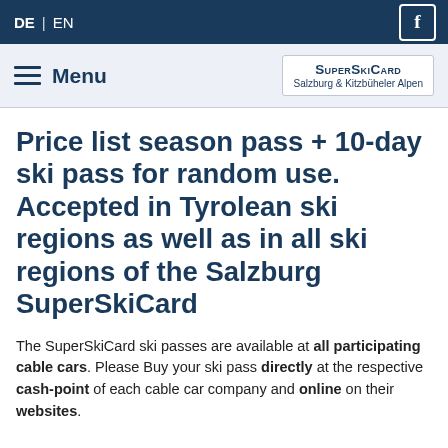DE | EN   f
Menu   SuperSkiCard Salzburg & Kitzbüheler Alpen
Price list season pass + 10-day ski pass for random use. Accepted in Tyrolean ski regions as well as in all ski regions of the Salzburg SuperSkiCard
The SuperSkiCard ski passes are available at all participating cable cars. Please Buy your ski pass directly at the respective cash-point of each cable car company and online on their websites.